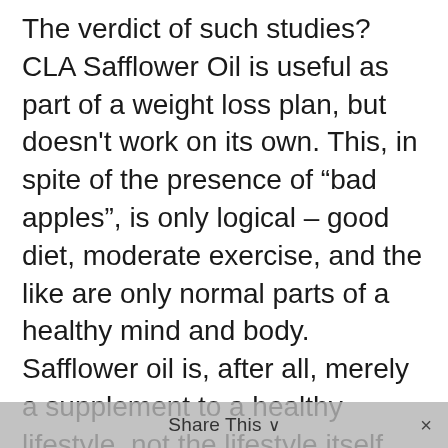The verdict of such studies? CLA Safflower Oil is useful as part of a weight loss plan, but doesn't work on its own. This, in spite of the presence of “bad apples”, is only logical – good diet, moderate exercise, and the like are only normal parts of a healthy mind and body. Safflower oil is, after all, merely a supplement to a healthy lifestyle, not the lifestyle itself.

Diabetes Studies have yielded similarly inconclusive but hopeful results. [4] Safflower oil is of a type which lends itself to insulin sensitivity, which any diabetic can tell you is a good thing... it
Share This ∨  ×